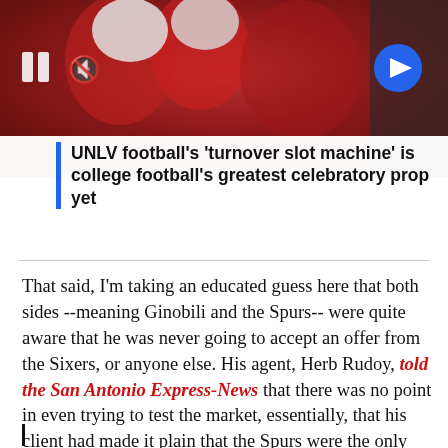[Figure (photo): Football players in red jerseys and white helmets, video thumbnail with pause and mute controls on left and blue arrow button on right]
UNLV football's 'turnover slot machine' is college football's greatest celebratory prop yet
That said, I'm taking an educated guess here that both sides --meaning Ginobili and the Spurs-- were quite aware that he was never going to accept an offer from the Sixers, or anyone else. His agent, Herb Rudoy, told the San Antonio Express-News that there was no point in even trying to test the market, essentially, that his client had made it plain that the Spurs were the only option.